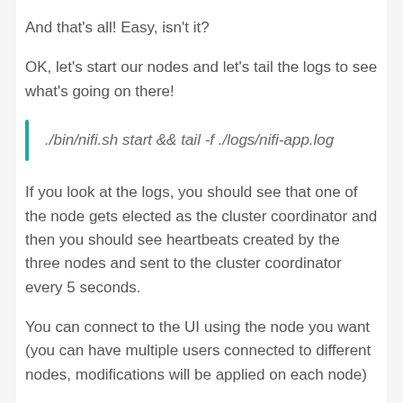And that's all! Easy, isn't it?
OK, let's start our nodes and let's tail the logs to see what's going on there!
./bin/nifi.sh start && tail -f ./logs/nifi-app.log
If you look at the logs, you should see that one of the node gets elected as the cluster coordinator and then you should see heartbeats created by the three nodes and sent to the cluster coordinator every 5 seconds.
You can connect to the UI using the node you want (you can have multiple users connected to different nodes, modifications will be applied on each node)